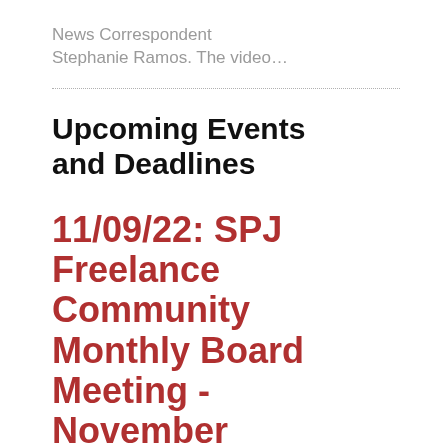News Correspondent Stephanie Ramos. The video…
Upcoming Events and Deadlines
11/09/22: SPJ Freelance Community Monthly Board Meeting - November
The SPJ Freelance Community board will meet on Wed., Nov. 9, from 4:00 to 5:30 p.m. EST. All SPJ members are invited to